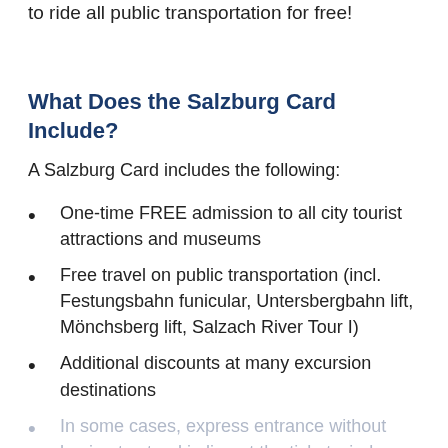to ride all public transportation for free!
What Does the Salzburg Card Include?
A Salzburg Card includes the following:
One-time FREE admission to all city tourist attractions and museums
Free travel on public transportation (incl. Festungsbahn funicular, Untersbergbahn lift, Mönchsberg lift, Salzach River Tour I)
Additional discounts at many excursion destinations
In some cases, express entrance without having to stand in line at the ticket window